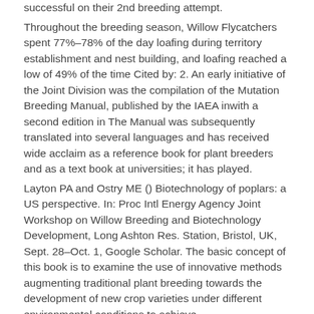successful on their 2nd breeding attempt.
Throughout the breeding season, Willow Flycatchers spent 77%–78% of the day loafing during territory establishment and nest building, and loafing reached a low of 49% of the time Cited by: 2. An early initiative of the Joint Division was the compilation of the Mutation Breeding Manual, published by the IAEA inwith a second edition in The Manual was subsequently translated into several languages and has received wide acclaim as a reference book for plant breeders and as a text book at universities; it has played.
Layton PA and Ostry ME () Biotechnology of poplars: a US perspective. In: Proc Intl Energy Agency Joint Workshop on Willow Breeding and Biotechnology Development, Long Ashton Res. Station, Bristol, UK, Sept. 28–Oct. 1, Google Scholar. The basic concept of this book is to examine the use of innovative methods augmenting traditional plant breeding towards the development of new crop varieties under different environmental conditions to achieve.